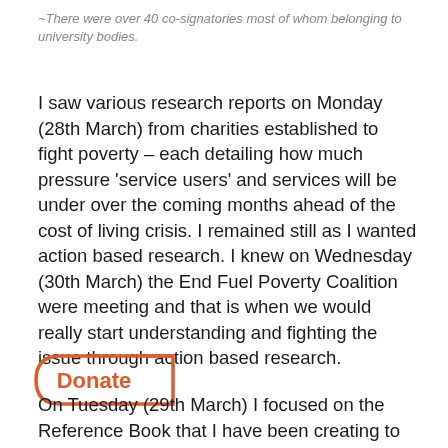~There were over 40 co-signatories most of whom belonging to university bodies.
I saw various research reports on Monday (28th March) from charities established to fight poverty – each detailing how much pressure 'service users' and services will be under over the coming months ahead of the cost of living crisis. I remained still as I wanted action based research. I knew on Wednesday (30th March) the End Fuel Poverty Coalition were meeting and that is when we would really start understanding and fighting the issue through action based research.
[Figure (other): Donate button with rounded rectangle border in orange/red color]
On Tuesday (29th March) I focused on the Reference Book that I have been creating to